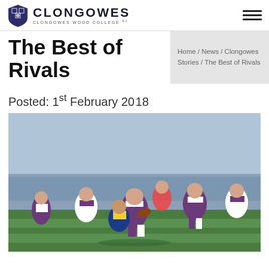Clongowes Wood College SJ
The Best of Rivals
Home / News / Clongowes Stories / The Best of Rivals
Posted: 1st February 2018
[Figure (photo): Rugby match action photo showing players in purple and white hooped jerseys in a tackle during a game, outdoors on a grass pitch.]